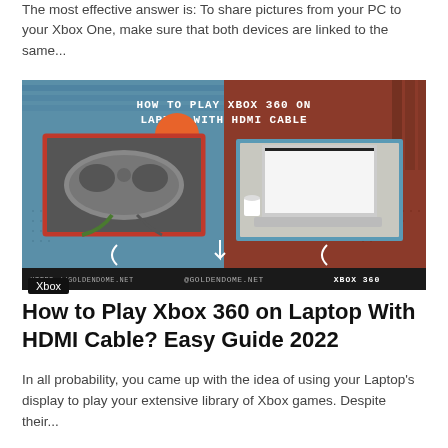The most effective answer is: To share pictures from your PC to your Xbox One, make sure that both devices are linked to the same...
[Figure (infographic): Infographic titled 'HOW TO PLAY XBOX 360 ON LAPTOP WITH HDMI CABLE' showing a Xbox controller on the left against a blue dotted background and a laptop on a desk on the right against a red/brown dotted background. Bottom bar shows 'HTTPS://GOLDENDOME.NET', '@GOLDENDOME.NET', and 'XBOX 360'. Xbox tag label shown below image.]
How to Play Xbox 360 on Laptop With HDMI Cable? Easy Guide 2022
In all probability, you came up with the idea of using your Laptop's display to play your extensive library of Xbox games. Despite their...